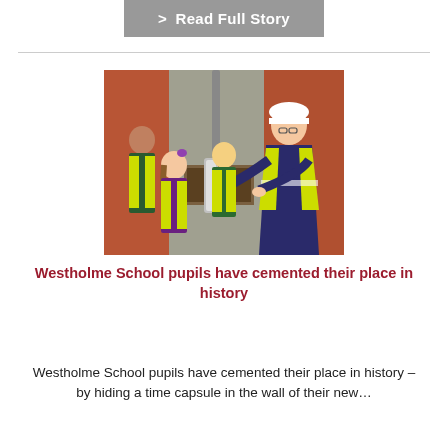> Read Full Story
[Figure (photo): Children in yellow high-visibility vests and an adult in a white hard hat and yellow hi-vis vest working together to place a time capsule into a cavity in a brick/stone wall outdoors.]
Westholme School pupils have cemented their place in history
Westholme School pupils have cemented their place in history – by hiding a time capsule in the wall of their new...